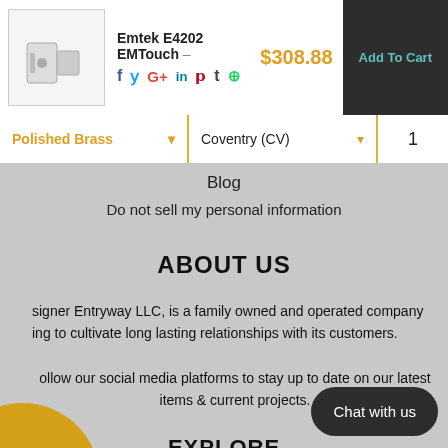Emtek E4202 EMTouch
$308.88
Add To Cart
Polished Brass
Coventry (CV)
1
Blog
Do not sell my personal information
ABOUT US
signer Entryway LLC, is a family owned and operated company ing to cultivate long lasting relationships with its customers.
ollow our social media platforms to stay up to date on our latest items & current projects.
EXPLORE
Terms & Conditions
Privacy Policy
Shipping & Returns
Chat with us